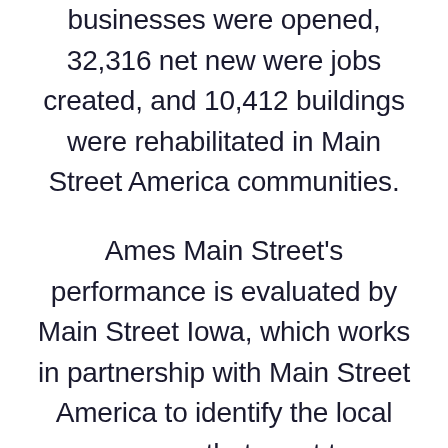businesses were opened, 32,316 net new were jobs created, and 10,412 buildings were rehabilitated in Main Street America communities.
Ames Main Street's performance is evaluated by Main Street Iowa, which works in partnership with Main Street America to identify the local programs that meet ten rigorous performance standards. Evaluation criteria determines the communities that are building comprehensive and sustainable revitalization efforts and include standards such as fostering strong public-private partnerships, documenting programmatic